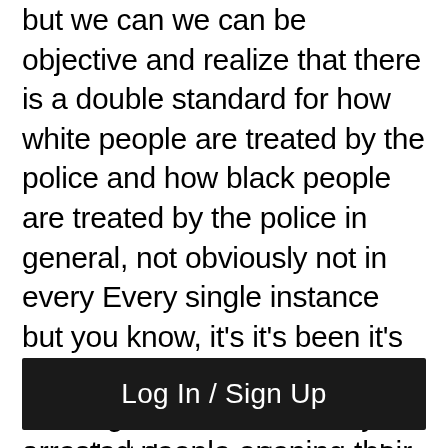but we can we can be objective and realize that there is a double standard for how white people are treated by the police and how black people are treated by the police in general, not obviously not in every Every single instance but you know, it's it's been it's been building and building and building. I'm not even really sure that these protests and riots Aren't you know, there are just about this because we've got the white community out there too. I think a lot of this is after you take people and put them in their homes under a virtual house arrest for 10 weeks or so. And then what they see over the last half of that is moms going to the park with their kids and getting arrested and put in
arrested people opening their gyms and getting